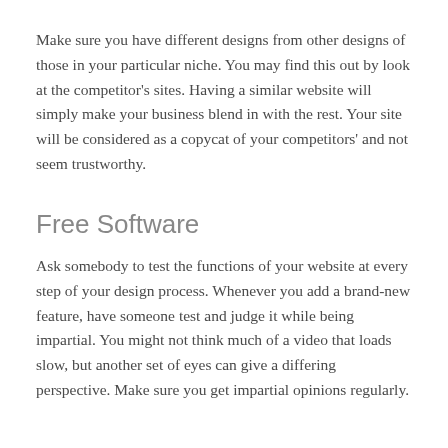Make sure you have different designs from other designs of those in your particular niche. You may find this out by look at the competitor's sites. Having a similar website will simply make your business blend in with the rest. Your site will be considered as a copycat of your competitors' and not seem trustworthy.
Free Software
Ask somebody to test the functions of your website at every step of your design process. Whenever you add a brand-new feature, have someone test and judge it while being impartial. You might not think much of a video that loads slow, but another set of eyes can give a differing perspective. Make sure you get impartial opinions regularly.